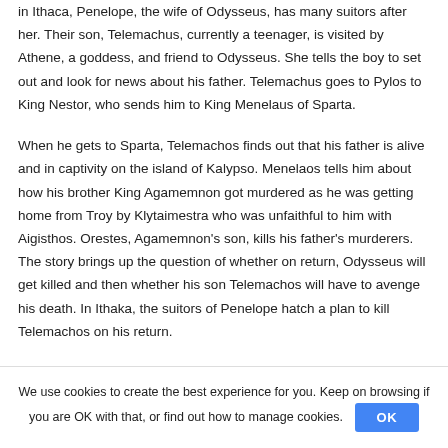in Ithaca, Penelope, the wife of Odysseus, has many suitors after her. Their son, Telemachus, currently a teenager, is visited by Athene, a goddess, and friend to Odysseus. She tells the boy to set out and look for news about his father. Telemachus goes to Pylos to King Nestor, who sends him to King Menelaus of Sparta.
When he gets to Sparta, Telemachos finds out that his father is alive and in captivity on the island of Kalypso. Menelaos tells him about how his brother King Agamemnon got murdered as he was getting home from Troy by Klytaimestra who was unfaithful to him with Aigisthos. Orestes, Agamemnon's son, kills his father's murderers. The story brings up the question of whether on return, Odysseus will get killed and then whether his son Telemachos will have to avenge his death. In Ithaka, the suitors of Penelope hatch a plan to kill Telemachos on his return.
We use cookies to create the best experience for you. Keep on browsing if you are OK with that, or find out how to manage cookies.